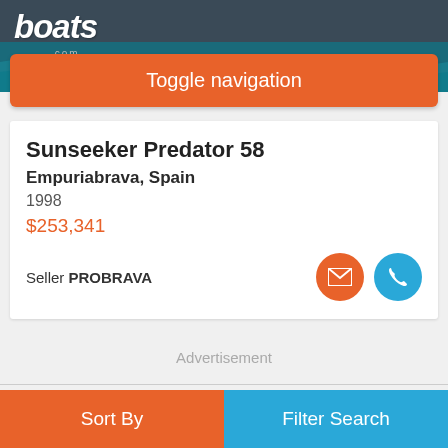boats.com
[Figure (screenshot): Toggle navigation button in orange, boats.com header with water background]
Sunseeker Predator 58
Empuriabrava, Spain
1998
$253,341
Seller PROBRAVA
Advertisement
Sort By
Filter Search